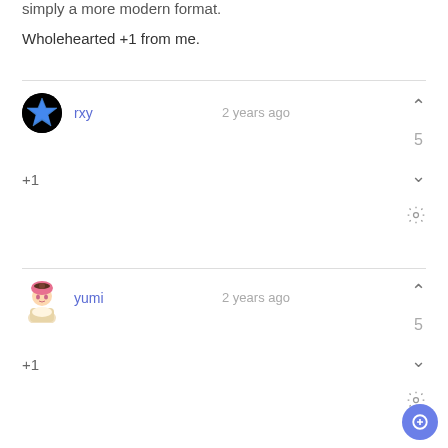simply a more modern format.
Wholehearted +1 from me.
rxy · 2 years ago · +1 · score: 5
yumi · 2 years ago · +1 · score: 5